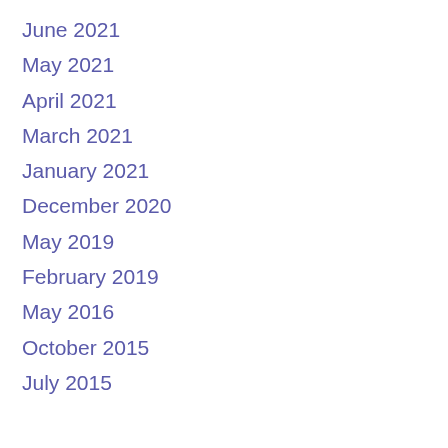June 2021
May 2021
April 2021
March 2021
January 2021
December 2020
May 2019
February 2019
May 2016
October 2015
July 2015